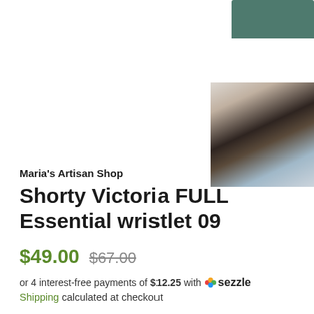[Figure (photo): Thumbnail of a dark teal/green wristlet product, partially visible at top-right corner]
[Figure (photo): Thumbnail of the wristlet interior showing dark brown leather and blue lining fabric]
Maria's Artisan Shop
Shorty Victoria FULL Essential wristlet 09
$49.00  $67.00
or 4 interest-free payments of $12.25 with  sezzle
Shipping calculated at checkout